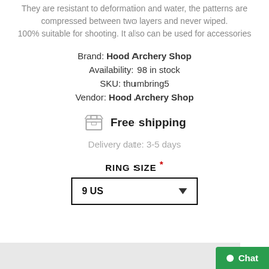They are resistant to deformation and water, the patterns are compressed between two layers and never wiped. 100% suitable for shooting. It also can be used for accessories
Brand: Hood Archery Shop
Availability: 98 in stock
SKU: thumbring5
Vendor: Hood Archery Shop
[Figure (illustration): Box/package icon representing free shipping]
Free shipping
Delivery date: 3-5 days
RING SIZE *
9 US (dropdown selector)